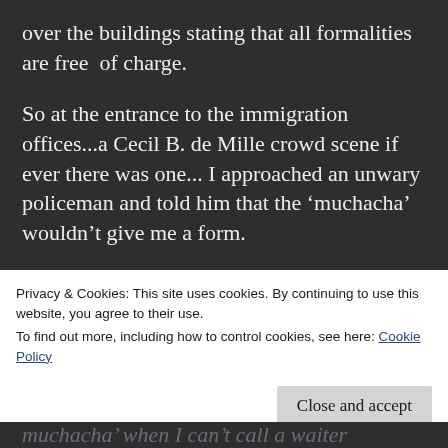over the buildings stating that all formalities are free of charge.
So at the entrance to the immigration offices...a Cecil B. de Mille crowd scene if ever there was one... I approached an unwary policeman and told him that the ‘muchacha’ wouldn’t give me a form.
He went off to the clerks at the desks and came back to say that they had run out of forms, but
Privacy & Cookies: This site uses cookies. By continuing to use this website, you agree to their use.
To find out more, including how to control cookies, see here: Cookie Policy
muchacha’ when I can’t call a waiter